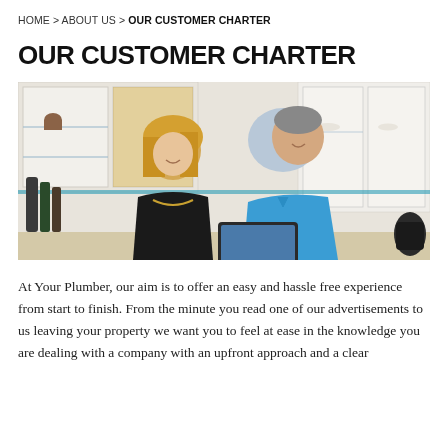HOME > ABOUT US > OUR CUSTOMER CHARTER
OUR CUSTOMER CHARTER
[Figure (photo): A woman with blonde hair wearing a black top and necklace and a man wearing a blue uniform shirt looking at a tablet together in a kitchen setting]
At Your Plumber, our aim is to offer an easy and hassle free experience from start to finish. From the minute you read one of our advertisements to us leaving your property we want you to feel at ease in the knowledge you are dealing with a company with an upfront approach and a clear